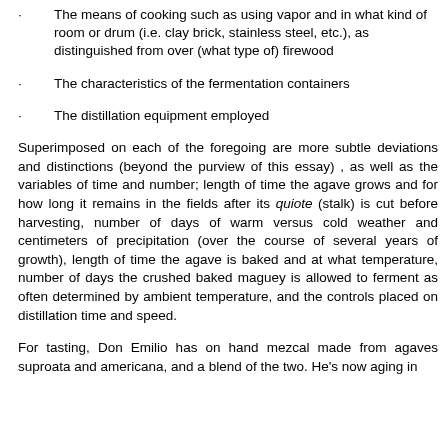The means of cooking such as using vapor and in what kind of room or drum (i.e. clay brick, stainless steel, etc.), as distinguished from over (what type of) firewood
The characteristics of the fermentation containers
The distillation equipment employed
Superimposed on each of the foregoing are more subtle deviations and distinctions (beyond the purview of this essay) , as well as the variables of time and number; length of time the agave grows and for how long it remains in the fields after its quiote (stalk) is cut before harvesting, number of days of warm versus cold weather and centimeters of precipitation (over the course of several years of growth), length of time the agave is baked and at what temperature, number of days the crushed baked maguey is allowed to ferment as often determined by ambient temperature, and the controls placed on distillation time and speed.
For tasting, Don Emilio has on hand mezcal made from agaves suproata and americana, and a blend of the two. He’s now aging in